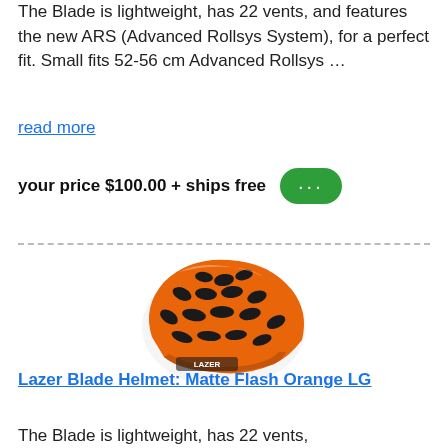The Blade is lightweight, has 22 vents, and features the new ARS (Advanced Rollsys System), for a perfect fit. Small fits 52-56 cm Advanced Rollsys …
read more
your price $100.00 + ships free
[Figure (photo): Orange Lazer Blade cycling helmet with black vents, matte finish, viewed from the side.]
Lazer Blade Helmet: Matte Flash Orange LG
The Blade is lightweight, has 22 vents,